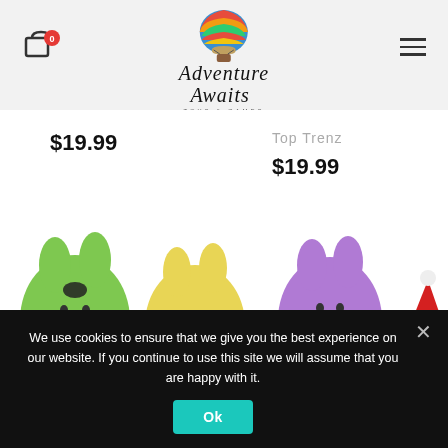[Figure (logo): Adventure Awaits Toys & Games logo with hot air balloon illustration]
$19.99
Top Trenz
$19.99
[Figure (photo): Colorful bunny-shaped pop-it fidget toys in green, yellow, and purple, plus a Santa hat bubble popper toy]
We use cookies to ensure that we give you the best experience on our website. If you continue to use this site we will assume that you are happy with it.